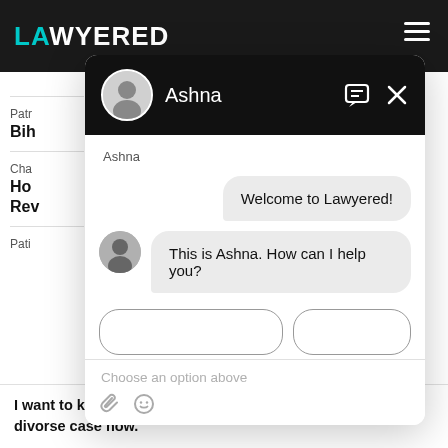[Figure (screenshot): Screenshot of the Lawyered website with a chat popup overlay featuring an agent named Ashna. The chat shows a welcome message and an agent message offering help. A text input area at the bottom shows 'Choose an option above' placeholder.]
Welcome to Lawyered!
This is Ashna. How can I help you?
Choose an option above
I want to know are courts open now and can we file a divorse case now.